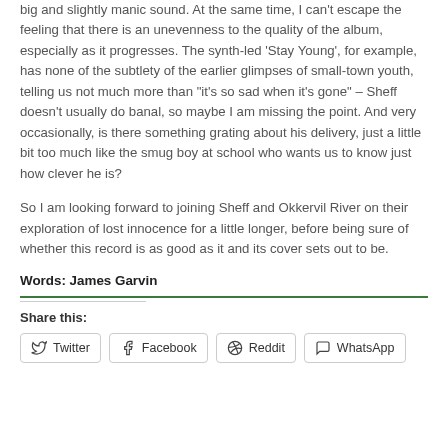big and slightly manic sound. At the same time, I can't escape the feeling that there is an unevenness to the quality of the album, especially as it progresses. The synth-led 'Stay Young', for example, has none of the subtlety of the earlier glimpses of small-town youth, telling us not much more than "it's so sad when it's gone" – Sheff doesn't usually do banal, so maybe I am missing the point. And very occasionally, is there something grating about his delivery, just a little bit too much like the smug boy at school who wants us to know just how clever he is?
So I am looking forward to joining Sheff and Okkervil River on their exploration of lost innocence for a little longer, before being sure of whether this record is as good as it and its cover sets out to be.
Words: James Garvin
Share this:
Twitter  Facebook  Reddit  WhatsApp